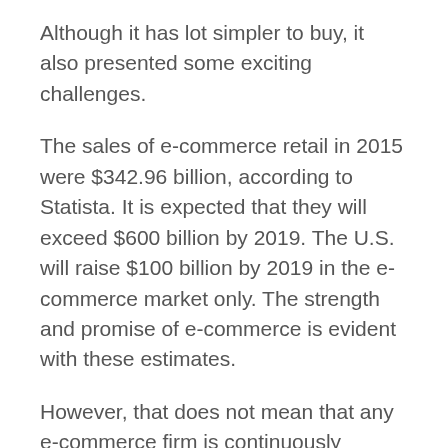Although it has lot simpler to buy, it also presented some exciting challenges.
The sales of e-commerce retail in 2015 were $342.96 billion, according to Statista. It is expected that they will exceed $600 billion by 2019. The U.S. will raise $100 billion by 2019 in the e-commerce market only. The strength and promise of e-commerce is evident with these estimates.
However, that does not mean that any e-commerce firm is continuously earning profits. In the way of E-Commerce Business i.e. in both big and small, there are problems. It is challenging to develop an e-commerce company. From website maintenance through customer service, you need to take great care